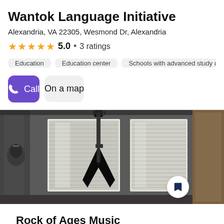Wantok Language Initiative
Alexandria, VA 22305, Wesmond Dr, Alexandria
5.0 · 3 ratings
Education
Education center
Schools with advanced study of the sub
Call
On a map
[Figure (photo): Interior room with a V-shaped electric guitar hanging on the wall, with windows with blinds in the background and acoustic foam panels visible]
Rock of Ages Music